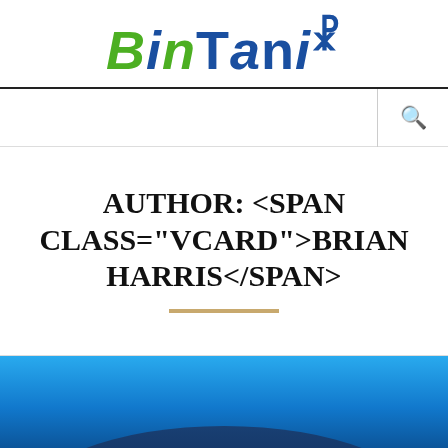BinTaniΨ (logo)
AUTHOR: <SPAN CLASS="VCARD">BRIAN HARRIS</SPAN>
[Figure (photo): Blue-toned landscape or technology image, partially visible at bottom of page]